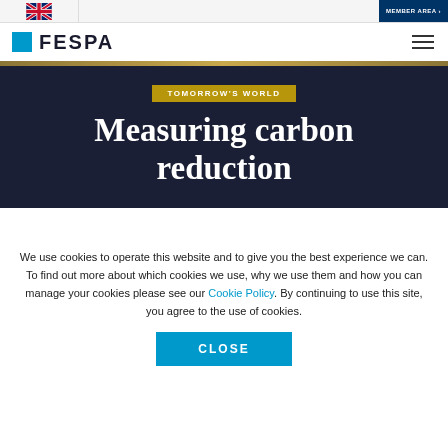FESPA website navigation header with flag, search bar, and MEMBER AREA button
[Figure (logo): FESPA logo with cyan square and bold text, hamburger menu icon on right]
TOMORROW'S WORLD
Measuring carbon reduction
We use cookies to operate this website and to give you the best experience we can. To find out more about which cookies we use, why we use them and how you can manage your cookies please see our Cookie Policy. By continuing to use this site, you agree to the use of cookies.